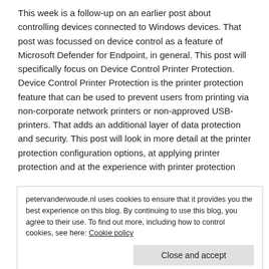This week is a follow-up on an earlier post about controlling devices connected to Windows devices. That post was focussed on device control as a feature of Microsoft Defender for Endpoint, in general. This post will specifically focus on Device Control Printer Protection. Device Control Printer Protection is the printer protection feature that can be used to prevent users from printing via non-corporate network printers or non-approved USB-printers. That adds an additional layer of data protection and security. This post will look in more detail at the printer protection configuration options, at applying printer protection and at the experience with printer protection
petervanderwoude.nl uses cookies to ensure that it provides you the best experience on this blog. By continuing to use this blog, you agree to their use. To find out more, including how to control cookies, see here: Cookie policy
Close and accept
Share this:
Privacy · Terms